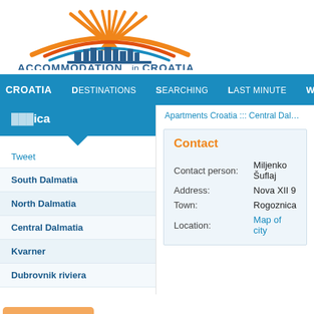[Figure (logo): Accommodation in Croatia logo with orange sun rays, colorful arches (orange, red, blue) over a blue city skyline silhouette, with text ACCOMMODATION in CROATIA below in blue]
CROATIA  Destinations  Searching  Last minute  W
Rogoznica
Tweet
South Dalmatia
North Dalmatia
Central Dalmatia
Kvarner
Dubrovnik riviera
Apartments Croatia ::: Central Dalmatia :::
Contact
| Field | Value |
| --- | --- |
| Contact person: | Miljenko Šuflaj |
| Address: | Nova XII 9 |
| Town: | Rogoznica |
| Location: | Map of city |